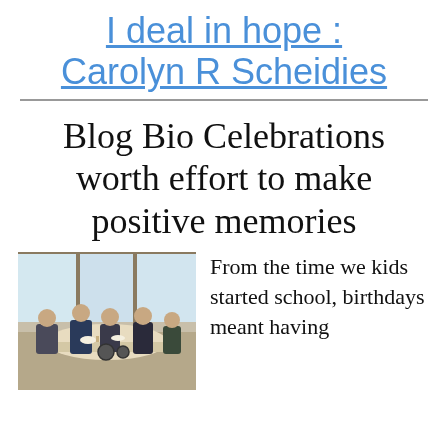I deal in hope : Carolyn R Scheidies
Blog Bio Celebrations worth effort to make positive memories
[Figure (photo): People seated around a table in a room, some in wheelchairs, sharing a meal or gathering]
From the time we kids started school, birthdays meant having friends over for...